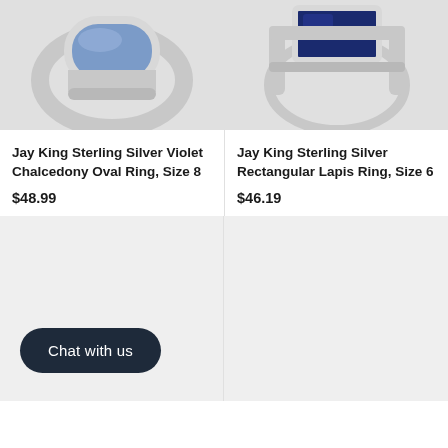[Figure (photo): Jay King Sterling Silver Violet Chalcedony Oval Ring product photo, showing a silver ring with oval blue/violet stone]
[Figure (photo): Jay King Sterling Silver Rectangular Lapis Ring product photo, showing a silver ring with rectangular lapis stone]
Jay King Sterling Silver Violet Chalcedony Oval Ring, Size 8
$48.99
Jay King Sterling Silver Rectangular Lapis Ring, Size 6
$46.19
[Figure (screenshot): Gray placeholder image box (bottom left)]
[Figure (screenshot): Gray placeholder image box (bottom right)]
Chat with us